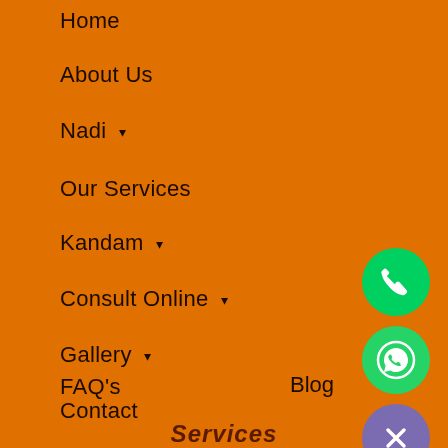Home
About Us
Nadi ▾
Our Services
Kandam ▾
Consult Online ▾
Gallery ▾
Contact
FAQ's
Blog
[Figure (illustration): Green circle button with white phone icon]
[Figure (illustration): Green circle button with white WhatsApp icon]
[Figure (illustration): Purple circle button with white X (close) icon]
Services